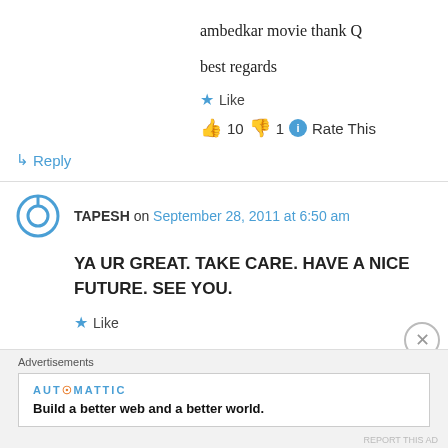ambedkar movie thank Q
best regards
★ Like
👍 10 👎 1 ℹ Rate This
↳ Reply
TAPESH on September 28, 2011 at 6:50 am
YA UR GREAT. TAKE CARE. HAVE A NICE FUTURE. SEE YOU.
★ Like
Advertisements
AUT⊙MATTIC
Build a better web and a better world.